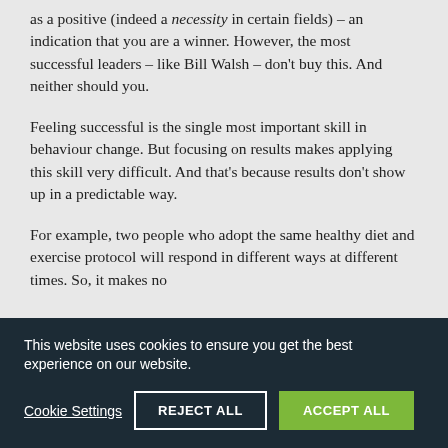as a positive (indeed a necessity in certain fields) – an indication that you are a winner. However, the most successful leaders – like Bill Walsh – don't buy this. And neither should you.
Feeling successful is the single most important skill in behaviour change. But focusing on results makes applying this skill very difficult. And that's because results don't show up in a predictable way.
For example, two people who adopt the same healthy diet and exercise protocol will respond in different ways at different times. So, it makes no
This website uses cookies to ensure you get the best experience on our website.
Cookie Settings
REJECT ALL
ACCEPT ALL